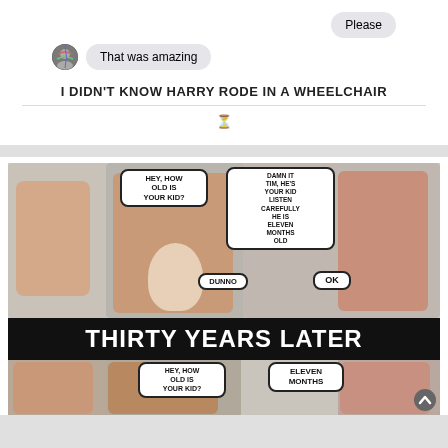[Figure (screenshot): Chat screenshot showing two messages: 'Please' and 'That was amazing' with avatar icon]
I DIDN'T KNOW HARRY RODE IN A WHEELCHAIR
[Figure (photo): Meme image showing a family scene. Top half: man on left with speech bubble 'HEY, HOW OLD IS YOUR KID?', middle man with baby responds 'DUNNO', woman on right says 'DAMN IT TIM, HE'S YOUR KID LISTEN CAREFULLY HE IS ELEVEN MONTHS OLD', baby area says 'OK'. Black banner reads 'THIRTY YEARS LATER'. Bottom half shows aged versions of the same people with speech bubble 'HEY, HOW OLD IS YOUR KID?' and response 'ELEVEN MONTHS']